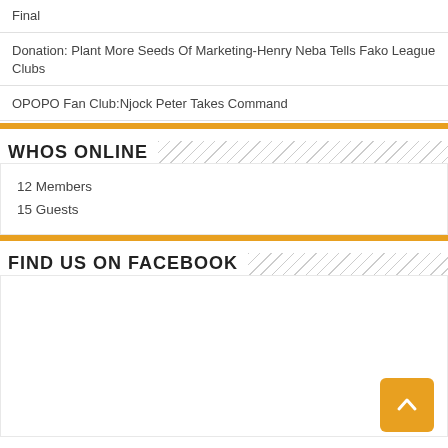Final
Donation: Plant More Seeds Of Marketing-Henry Neba Tells Fako League Clubs
OPOPO Fan Club:Njock Peter Takes Command
WHOS ONLINE
12 Members
15 Guests
FIND US ON FACEBOOK